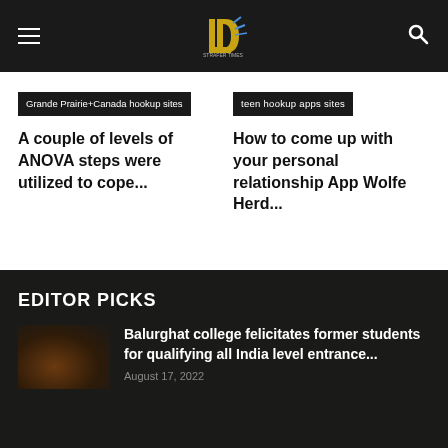Strafer Times — navigation header with logo, hamburger menu, and search icon
Grande Prairie+Canada hookup sites
A couple of levels of ANOVA steps were utilized to cope...
teen hookup apps sites
How to come up with your personal relationship App Wolfe Herd...
EDITOR PICKS
Balurghat college felicitates former students for qualifying all India level entrance...
August 17, 2022